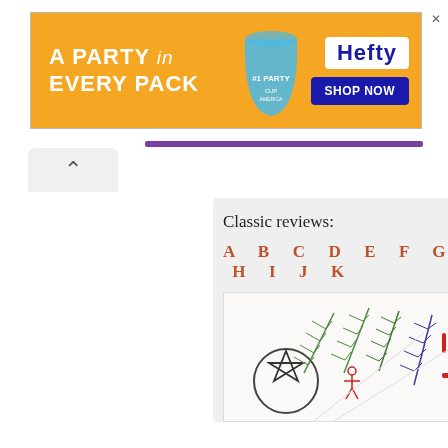[Figure (screenshot): Hefty advertisement banner: orange background with text 'A PARTY in EVERY PACK', Hefty logo and 'SHOP NOW' button on right]
[Figure (screenshot): Website content area showing 'Classic reviews:' heading with alphabet navigation A B C D E F G H I J K and a decorative image strip with ferns, pentagram, and red symbols]